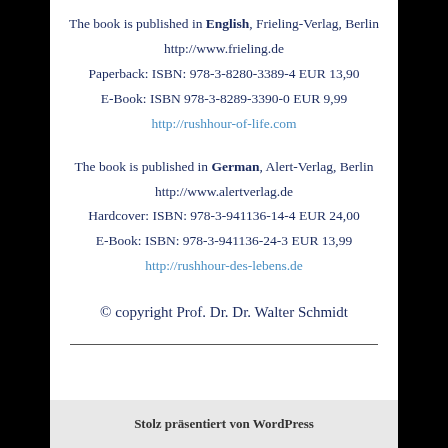The book is published in English, Frieling-Verlag, Berlin
http://www.frieling.de
Paperback: ISBN: 978-3-8280-3389-4 EUR 13,90
E-Book: ISBN 978-3-8289-3390-0 EUR 9,99
http://rushhour-of-life.com
The book is published in German, Alert-Verlag, Berlin
http://www.alertverlag.de
Hardcover: ISBN: 978-3-941136-14-4 EUR 24,00
E-Book: ISBN: 978-3-941136-24-3 EUR 13,99
http://rushhour-des-lebens.de
© copyright Prof. Dr. Dr. Walter Schmidt
Stolz präsentiert von WordPress